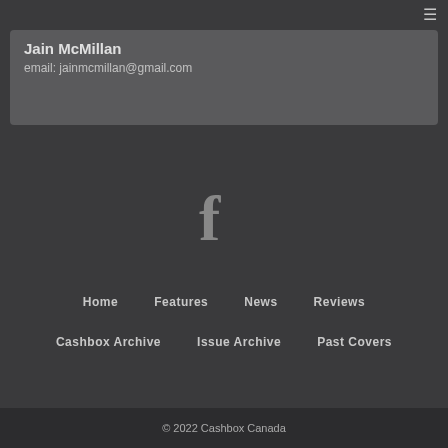≡
Jain McMillan
email: jainmcmillan@gmail.com
[Figure (logo): Facebook icon (stylized lowercase f) in gray]
Home
Features
News
Reviews
Cashbox Archive
Issue Archive
Past Covers
© 2022 Cashbox Canada